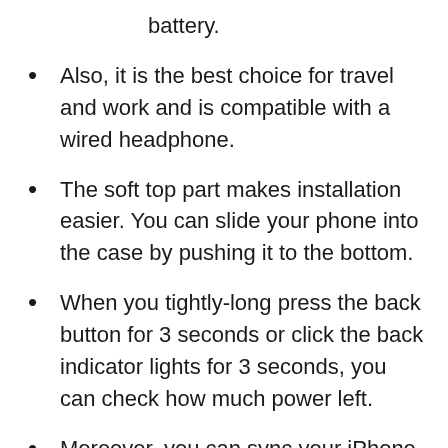battery.
Also, it is the best choice for travel and work and is compatible with a wired headphone.
The soft top part makes installation easier. You can slide your phone into the case by pushing it to the bottom.
When you tightly-long press the back button for 3 seconds or click the back indicator lights for 3 seconds, you can check how much power left.
Moreover, you can sync your iPhone 12 Mini to your Mac book, PC or laptop without removing the case.
It is compatible with all iOS versions, Apple Pay, and future iOS software updates (Apple CarPlay